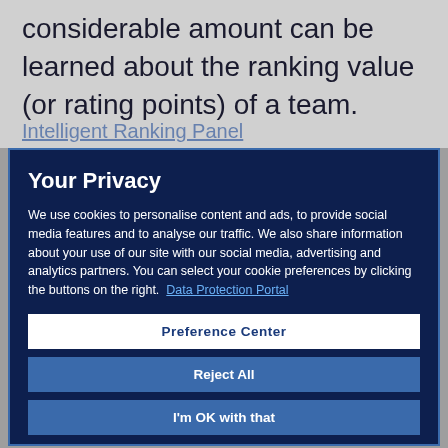considerable amount can be learned about the ranking value (or rating points) of a team.
[partially visible section header — obscured by modal]
Your Privacy
We use cookies to personalise content and ads, to provide social media features and to analyse our traffic. We also share information about your use of our site with our social media, advertising and analytics partners. You can select your cookie preferences by clicking the buttons on the right.  Data Protection Portal
Preference Center
Reject All
I'm OK with that